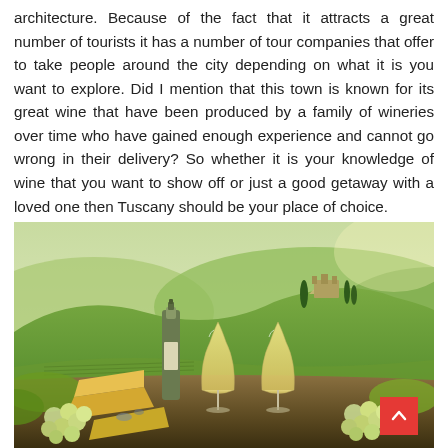architecture. Because of the fact that it attracts a great number of tourists it has a number of tour companies that offer to take people around the city depending on what it is you want to explore. Did I mention that this town is known for its great wine that have been produced by a family of wineries over time who have gained enough experience and cannot go wrong in their delivery? So whether it is your knowledge of wine that you want to show off or just a good getaway with a loved one then Tuscany should be your place of choice.
[Figure (photo): Scenic Tuscany landscape with rolling green hills, a hilltop castle surrounded by cypress trees, and a wooden table in the foreground displaying two glasses of white wine, a bottle of white wine, grapes, cheese, and other food items.]